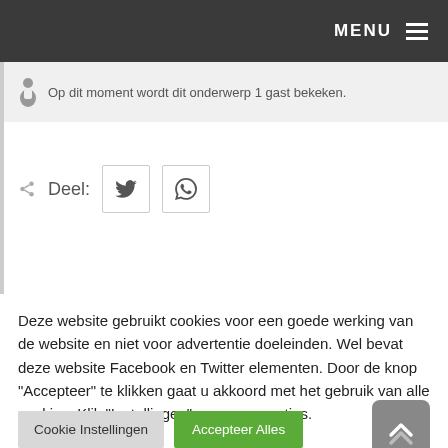MENU
Op dit moment wordt dit onderwerp 1 gast bekeken.
Deel:
Deze website gebruikt cookies voor een goede werking van de website en niet voor advertentie doeleinden. Wel bevat deze website Facebook en Twitter elementen. Door de knop "Accepteer" te klikken gaat u akkoord met het gebruik van alle cookies. Klik "Instellingen" voor meer opties.
Cookie Instellingen
Accepteer Alles